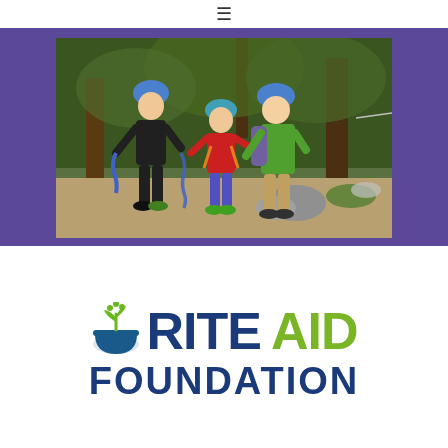≡
[Figure (photo): Outdoor climbing/ropes course activity scene. Three people wearing helmets (blue helmets) in a forest setting with trees in the background. One person in a black Celtics jersey holding a blue rope, one smaller person in red shirt with harness, and one person in green shirt. Sandy/gravel ground with rocks visible.]
[Figure (logo): Rite Aid Foundation logo. Features a bowl icon with sprout/plant on left side in blue-green. Text reads 'RITE AID' in large bold letters with RITE in dark blue and AID in green, and FOUNDATION in large dark blue bold letters below.]